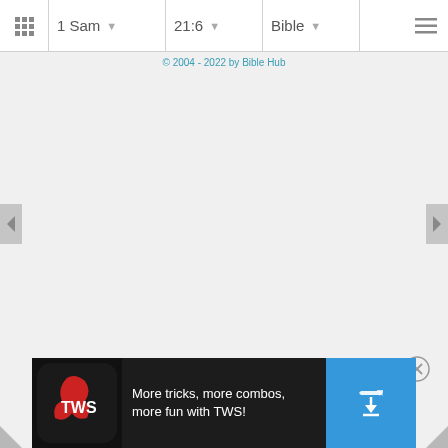1 Sam  21:6  Bible
© 2004 - 2022 by Bible Hub
[Figure (screenshot): Advertisement banner: TWS app logo on left, text 'More tricks, more combos, more fun with TWS!' in white on dark background, download button on right in blue]